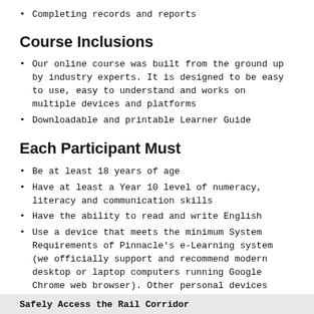Completing records and reports
Course Inclusions
Our online course was built from the ground up by industry experts. It is designed to be easy to use, easy to understand and works on multiple devices and platforms
Downloadable and printable Learner Guide
Each Participant Must
Be at least 18 years of age
Have at least a Year 10 level of numeracy, literacy and communication skills
Have the ability to read and write English
Use a device that meets the minimum System Requirements of Pinnacle's e-Learning system (we officially support and recommend modern desktop or laptop computers running Google Chrome web browser). Other personal devices (e.g. phones and tablets) may be compatible, but due to the variety available, we do not officially support these devices
Have a stable internet connection
Use a device that can play sound
Safely Access the Rail Corridor